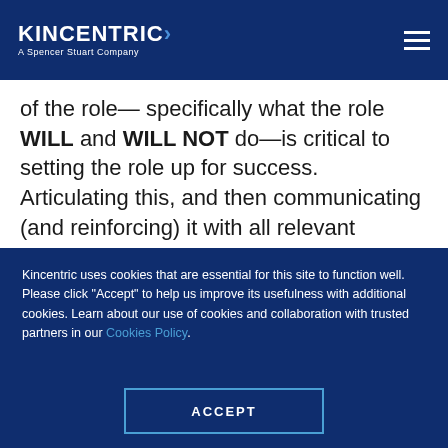KINCENTRIC> A Spencer Stuart Company
of the role— specifically what the role WILL and WILL NOT do—is critical to setting the role up for success. Articulating this, and then communicating (and reinforcing) it with all relevant stakeholders, including the HRBPs themselves, is important to fully realize the
Kincentric uses cookies that are essential for this site to function well. Please click "Accept" to help us improve its usefulness with additional cookies. Learn about our use of cookies and collaboration with trusted partners in our Cookies Policy.
ACCEPT